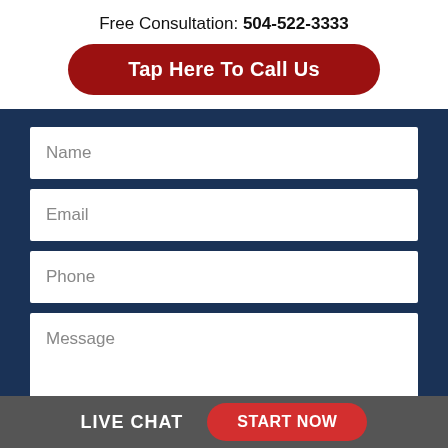Free Consultation: 504-522-3333
Tap Here To Call Us
Name
Email
Phone
Message
LIVE CHAT   START NOW